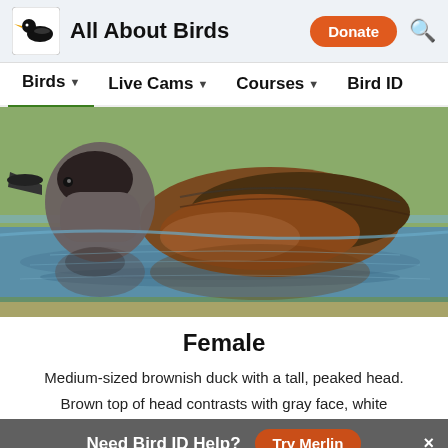All About Birds | Donate | Search
Birds ▾   Live Cams ▾   Courses ▾   Bird ID
[Figure (photo): Close-up photo of a female duck swimming on water, showing brownish body, peaked head, dark cap, and reflection in the water below.]
Female
Medium-sized brownish duck with a tall, peaked head. Brown top of head contrasts with gray face, white
Need Bird ID Help?  Try Merlin  ×
Overview   ID info   Life History   Maps   Sounds